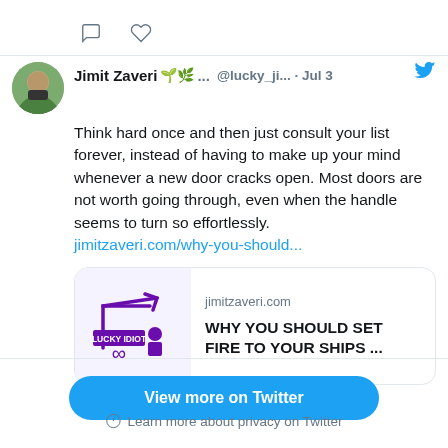[Figure (screenshot): Twitter/social media feed screenshot showing a tweet by Jimit Zaveri with avatar, name, handle, date, tweet text, link, and a preview card for jimitzaveri.com article 'WHY YOU SHOULD SET FIRE TO YOUR SHIPS ...']
Jimit Zaveri 🌱🌿 ... @lucky_ji... · Jul 3
Think hard once and then just consult your list forever, instead of having to make up your mind whenever a new door cracks open. Most doors are not worth going through, even when the handle seems to turn so effortlessly.
jimitzaveri.com/why-you-should...
jimitzaveri.com
WHY YOU SHOULD SET FIRE TO YOUR SHIPS ...
View more on Twitter
Learn more about privacy on Twitter